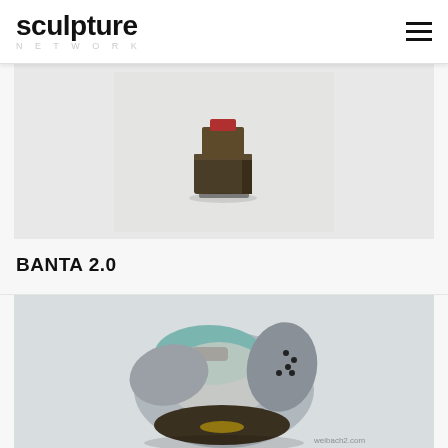sculpture NETWORK
[Figure (photo): Wooden abstract sculpture with a small red element on top, placed on a white background]
BANTA 2.0
[Figure (photo): Ceramic/stone-like abstract sculpture with blue-gray and white tones, textured organic form, on a white background. Watermark: weibach2.com]